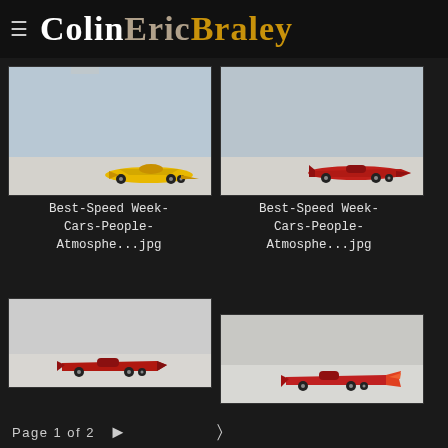≡ ColinEricBraley
[Figure (photo): Yellow open-wheel racing car on salt flats, light blue sky background]
Best-Speed Week-
Cars-People-
Atmosphe...jpg
[Figure (photo): Red streamliner racing car on salt flats, light blue sky background]
Best-Speed Week-
Cars-People-
Atmosphe...jpg
[Figure (photo): Red streamliner racing car on salt flats, grey sky]
[Figure (photo): Red streamliner racing car with flame/fin tail on salt flats]
Page 1 of 2  >  <